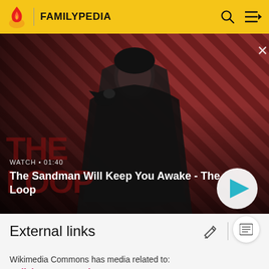FAMILYPEDIA
[Figure (screenshot): Video thumbnail showing a dark-cloaked figure with a crow on shoulder against a red diagonal striped background. Text overlay: WATCH • 01:40 / The Sandman Will Keep You Awake - The Loop. Play button visible bottom right.]
External links
Wikimedia Commons has media related to:
Salisbury, Massachusetts